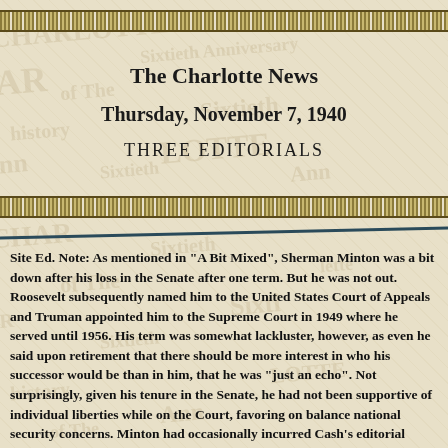The Charlotte News
Thursday, November 7, 1940
THREE EDITORIALS
Site Ed. Note: As mentioned in "A Bit Mixed", Sherman Minton was a bit down after his loss in the Senate after one term. But he was not out. Roosevelt subsequently named him to the United States Court of Appeals and Truman appointed him to the Supreme Court in 1949 where he served until 1956. His term was somewhat lackluster, however, as even he said upon retirement that there should be more interest in who his successor would be than in him, that he was "just an echo". Not surprisingly, given his tenure in the Senate, he had not been supportive of individual liberties while on the Court, favoring on balance national security concerns. Minton had occasionally incurred Cash's editorial denunciation as Senator for his extreme stands against freedom of speech and the press